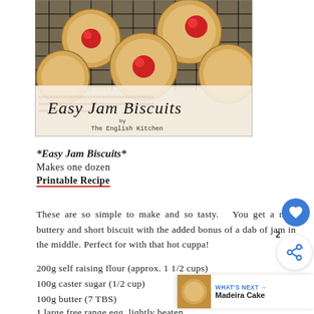[Figure (photo): Photo of Easy Jam Biscuits on a cooling rack with text overlay reading 'Easy Jam Biscuits by The English Kitchen']
*Easy Jam Biscuits*
Makes one dozen
Printable Recipe
These are so simple to make and so tasty.  You get a nice buttery and short biscuit with the added bonus of a dab of jam in the middle. Perfect for with that hot cuppa!
200g self raising flour (approx. 1 1/2 cups)
100g caster sugar (1/2 cup)
100g butter (7 TBS)
1 large free range egg, lightly beaten